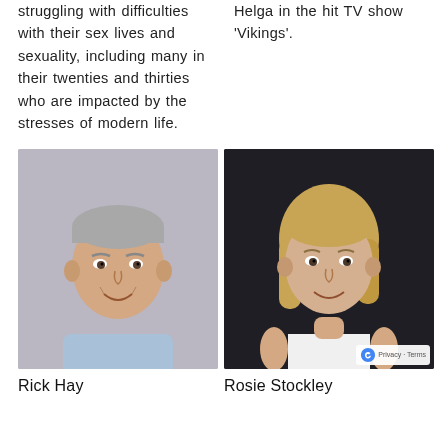struggling with difficulties with their sex lives and sexuality, including many in their twenties and thirties who are impacted by the stresses of modern life.
Helga in the hit TV show 'Vikings'.
[Figure (photo): Headshot of Rick Hay, a middle-aged man with grey hair wearing a light blue shirt, photographed against a light purple/grey background, smiling.]
Rick Hay
[Figure (photo): Headshot of Rosie Stockley, a woman with shoulder-length blonde hair wearing a white sleeveless top, photographed against a dark/black background, smiling.]
Rosie Stockley